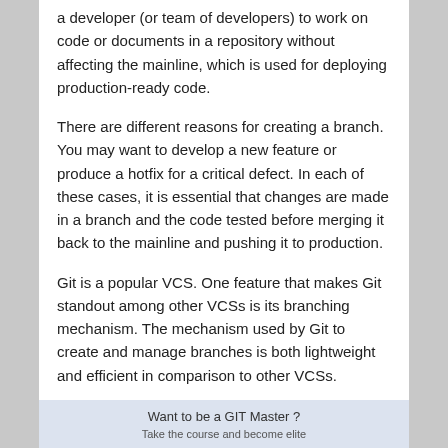a developer (or team of developers) to work on code or documents in a repository without affecting the mainline, which is used for deploying production-ready code.
There are different reasons for creating a branch. You may want to develop a new feature or produce a hotfix for a critical defect. In each of these cases, it is essential that changes are made in a branch and the code tested before merging it back to the mainline and pushing it to production.
Git is a popular VCS. One feature that makes Git standout among other VCSs is its branching mechanism. The mechanism used by Git to create and manage branches is both lightweight and efficient in comparison to other VCSs.
Want to be a GIT Master ?